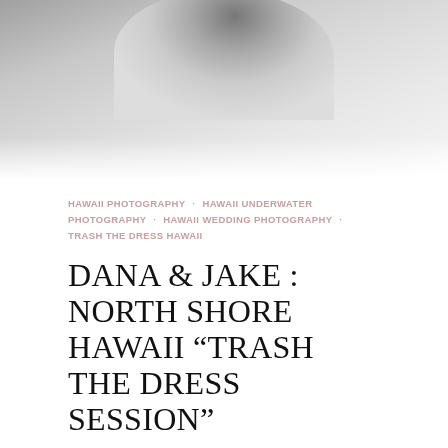[Figure (photo): Black and white photograph of a person in water, partially cropped — only lower portion of figure visible against light water/foam background]
HAWAII PHOTOGRAPHY · HAWAII UNDERWATER PHOTOGRAPHY · HAWAII WEDDING PHOTOGRAPHY · TRASH THE DRESS HAWAII
DANA & JAKE : NORTH SHORE HAWAII "TRASH THE DRESS SESSION"
BY MARK · UPDATED ON 27 JAN '11
Being a wedding photographer here in Hawaii I deal with a lot of different variables, especially when it comes to getting in the water for …